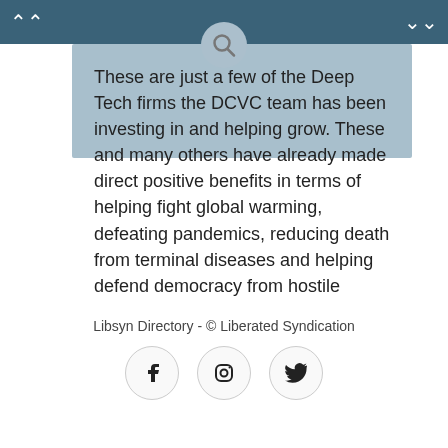navigation header with search icon
These are just a few of the Deep Tech firms the DCVC team has been investing in and helping grow. These and many others have already made direct positive benefits in terms of helping fight global warming, defeating pandemics, reducing death from terminal diseases and helping defend democracy from hostile threats.
For more see:
DCVC
Libsyn Directory - © Liberated Syndication